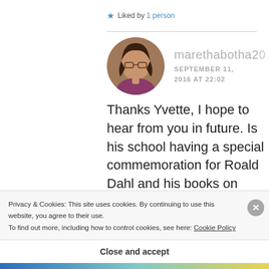Liked by 1 person
marethabotha2
SEPTEMBER 11, 2016 AT 22:02
[Figure (photo): Circular avatar photo of a woman with glasses and dark hair]
Thanks Yvette, I hope to hear from you in future. Is his school having a special commemoration for Roald Dahl and his books on Tuesday? He
Privacy & Cookies: This site uses cookies. By continuing to use this website, you agree to their use.
To find out more, including how to control cookies, see here: Cookie Policy
Close and accept